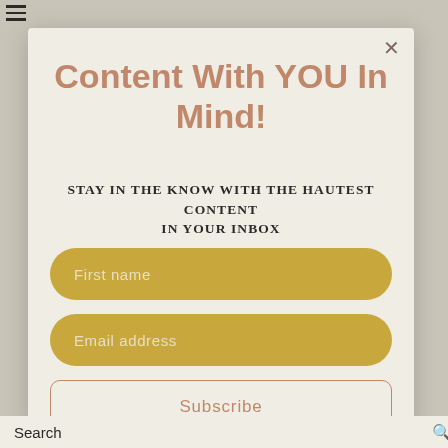Content With YOU In Mind!
STAY IN THE KNOW WITH THE HAUTEST CONTENT IN YOUR INBOX
First name
Email address
Subscribe
Search